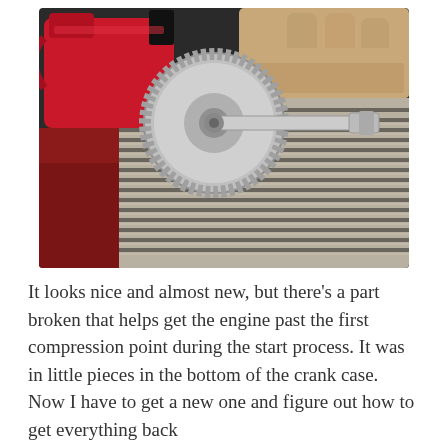[Figure (photo): A metal timing gear with shaft/axle sitting on a red and gray striped blanket or rug. In the background are a red plastic gas can and a pair of tan work gloves.]
It looks nice and almost new, but there's a part broken that helps get the engine past the first compression point during the start process. It was in little pieces in the bottom of the crank case. Now I have to get a new one and figure out how to get everything back